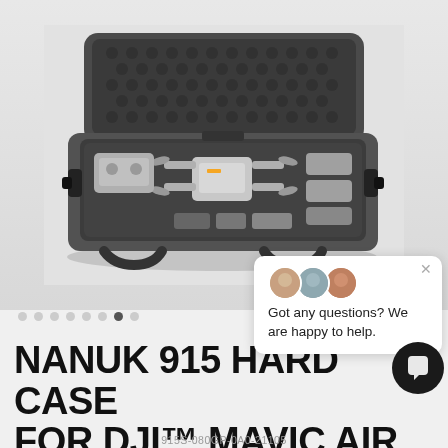[Figure (photo): NANUK 915 hard case open, showing foam-lined interior holding DJI Mavic Air drone and accessories. Case is dark grey/charcoal with black handles and latches. The lid is open showing egg-crate foam top and custom foam insert on bottom.]
[Figure (infographic): Chat support popup overlay showing three circular avatar photos of support staff, an X close button, and the text 'Got any questions? We are happy to help.' Below the page there is also a dark circular chat button icon.]
NANUK 915 HARD CASE FOR DJI™ MAVIC AIR
915S-080GP-0A0-21105